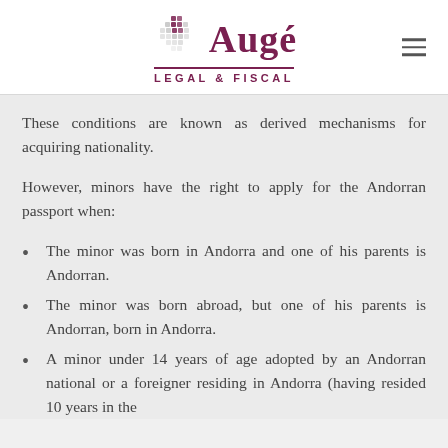[Figure (logo): Augé Legal & Fiscal logo with globe graphic and hamburger menu icon]
These conditions are known as derived mechanisms for acquiring nationality.
However, minors have the right to apply for the Andorran passport when:
The minor was born in Andorra and one of his parents is Andorran.
The minor was born abroad, but one of his parents is Andorran, born in Andorra.
A minor under 14 years of age adopted by an Andorran national or a foreigner residing in Andorra (having resided 10 years in the